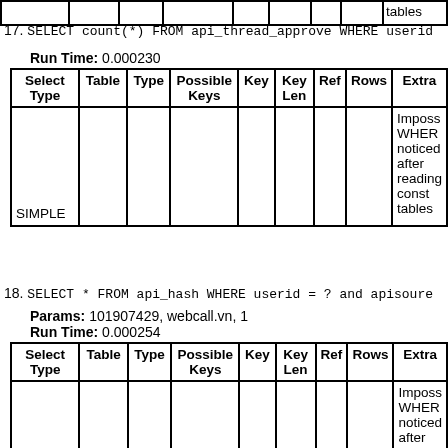| Select Type | Table | Type | Possible Keys | Key | Key Len | Ref | Rows | Extra |
| --- | --- | --- | --- | --- | --- | --- | --- | --- |
|  |  |  |  |  |  |  |  | tables |
17. SELECT count(*) FROM api_thread_approve WHERE userid...
Run Time: 0.000230
| Select Type | Table | Type | Possible Keys | Key | Key Len | Ref | Rows | Extra |
| --- | --- | --- | --- | --- | --- | --- | --- | --- |
| SIMPLE |  |  |  |  |  |  |  | Imposs WHERE noticed after reading const tables |
18. SELECT * FROM api_hash WHERE userid = ? and apisource...
Params: 101907429, webcall.vn, 1
Run Time: 0.000254
| Select Type | Table | Type | Possible Keys | Key | Key Len | Ref | Rows | Extra |
| --- | --- | --- | --- | --- | --- | --- | --- | --- |
| SIMPLE |  |  |  |  |  |  |  | Imposs WHERE noticed after... |